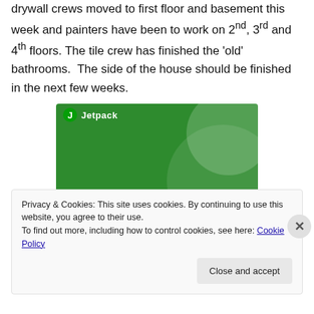drywall crews moved to first floor and basement this week and painters have been to work on 2nd, 3rd and 4th floors. The tile crew has finished the 'old' bathrooms. The side of the house should be finished in the next few weeks.
[Figure (screenshot): Jetpack advertisement banner on green background reading 'The best real-time WordPress backup plugin']
Privacy & Cookies: This site uses cookies. By continuing to use this website, you agree to their use.
To find out more, including how to control cookies, see here: Cookie Policy